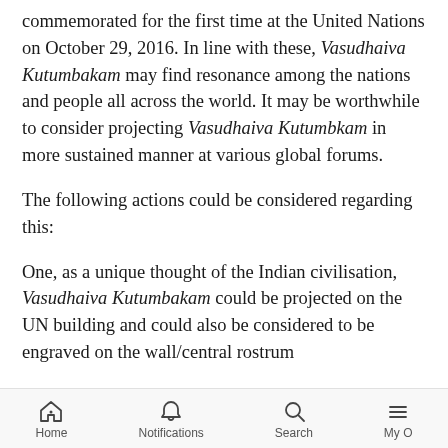commemorated for the first time at the United Nations on October 29, 2016. In line with these, Vasudhaiva Kutumbakam may find resonance among the nations and people all across the world. It may be worthwhile to consider projecting Vasudhaiva Kutumbkam in more sustained manner at various global forums.
The following actions could be considered regarding this:
One, as a unique thought of the Indian civilisation, Vasudhaiva Kutumbakam could be projected on the UN building and could also be considered to be engraved on the wall/central rostrum
Home  Notifications  Search  My O